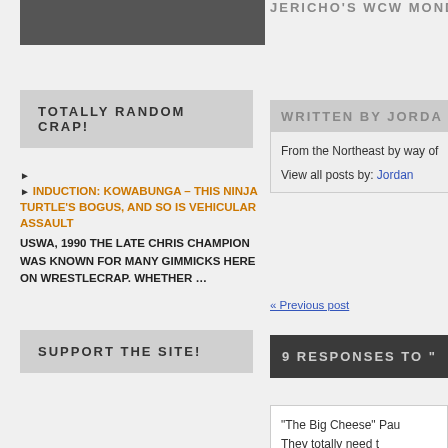[Figure (photo): Black and white photo partially visible at top left]
TOTALLY RANDOM CRAP!
INDUCTION: KOWABUNGA – THIS NINJA TURTLE'S BOGUS, AND SO IS VEHICULAR ASSAULT
USWA, 1990 THE LATE CHRIS CHAMPION WAS KNOWN FOR MANY GIMMICKS HERE ON WRESTLECRAP. WHETHER …
SUPPORT THE SITE!
JERICHO'S WCW MONDAY (truncated)
WRITTEN BY JORDA (truncated)
From the Northeast by way of (truncated)
View all posts by: Jordan (truncated)
« Previous post
9 RESPONSES TO "HEA (truncated)
"The Big Cheese" Pau (truncated)
They totally need t (truncated)